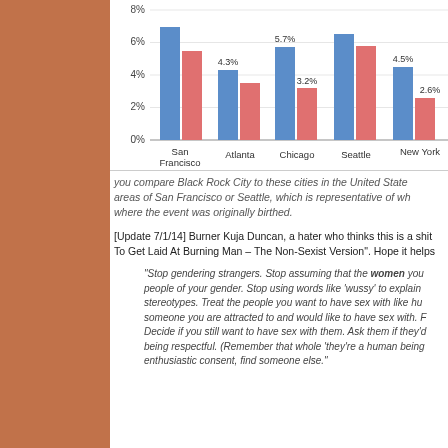[Figure (grouped-bar-chart): City comparison bar chart]
you compare Black Rock City to these cities in the United States areas of San Francisco or Seattle, which is representative of where the event was originally birthed.
[Update 7/1/14] Burner Kuja Duncan, a hater who thinks this is a shit To Get Laid At Burning Man – The Non-Sexist Version". Hope it helps
"Stop gendering strangers. Stop assuming that the women you people of your gender. Stop using words like 'wussy' to explain stereotypes. Treat the people you want to have sex with like hu someone you are attracted to and would like to have sex with. Decide if you still want to have sex with them. Ask them if they'd being respectful. (Remember that whole 'they're a human being enthusiastic consent, find someone else."